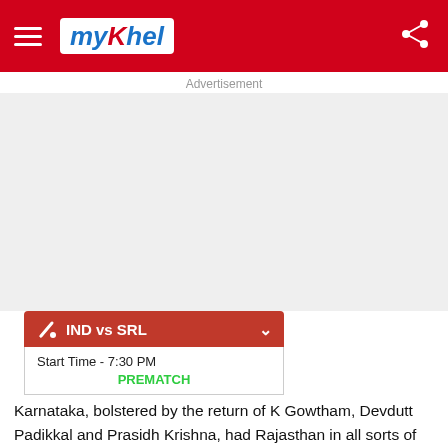myKhel
[Figure (screenshot): Advertisement placeholder area (grey box)]
IND vs SRL  Start Time - 7:30 PM  PREMATCH
Karnataka, bolstered by the return of K Gowtham, Devdutt Padikkal and Prasidh Krishna, had Rajasthan in all sorts of bother at 19 for 5 in the eighth over. Krishna struck the first blow, having the in-form Abhijeet Tomar,